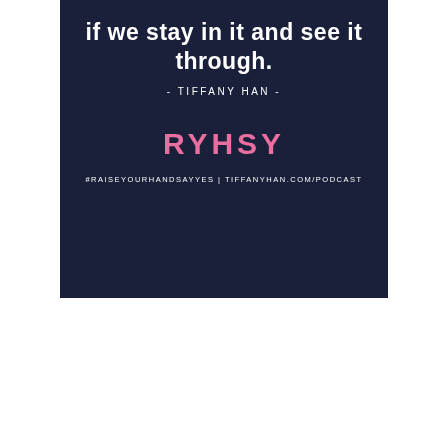if we stay in it and see it through.
- TIFFANY HAN -
RYHSY
#RAISEYOURHANDSAYYES | TIFFANYHAN.COM/PODCAST